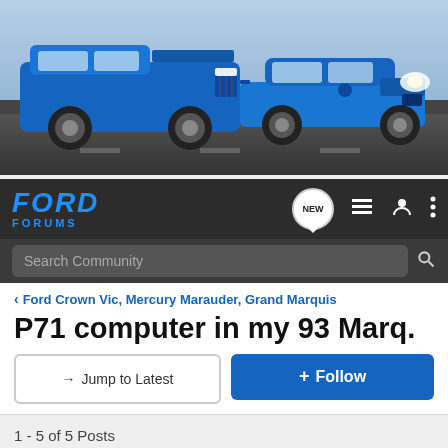[Figure (screenshot): Ford Forums website banner with two blue Ford vehicles (F-150 truck and Mustang) on a dark background]
FORD FORUMS
Search Community
< Ford Crown Vic, Mercury Marauder, Grand Marquis
P71 computer in my 93 Marq.
→ Jump to Latest
+ Follow
1 - 5 of 5 Posts
Marqman · Multi Car Owner
Joined Feb 14, 2001 · 927 Posts